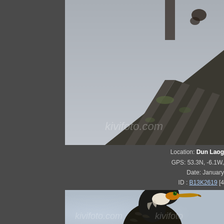[Figure (photo): Close-up photo of a bird (cormorant) perched on weathered wooden structure, rooftop with slate tiles visible, overcast sky background. Partially cropped, right portion of image visible.]
Location: Dun Laog
GPS: 53.3N, -6.1W,
Date: January
ID : B13K2619 [4
[Figure (photo): Close-up portrait photo of a Great Cormorant (Phalacrocorax carbo) bird with distinctive white cheek patch, orange-yellow facial skin, green eye, and dark plumage with scaly pattern. Light grey blurred background.]